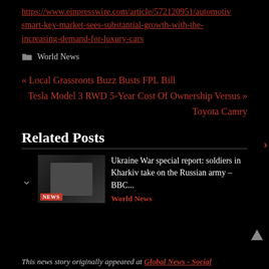https://www.einpresswire.com/article/572120951/automotive-smart-key-market-sees-substantial-growth-with-the-increasing-demand-for-luxury-cars
World News
« Local Grassroots Buzz Busts FPL Bill
Tesla Model 3 RWD 5-Year Cost Of Ownership Versus » Toyota Camry
Related Posts
Ukraine War special report: soldiers in Kharkiv take on the Russian army – BBC...
World News
This news story originally appeared at Global News - Social